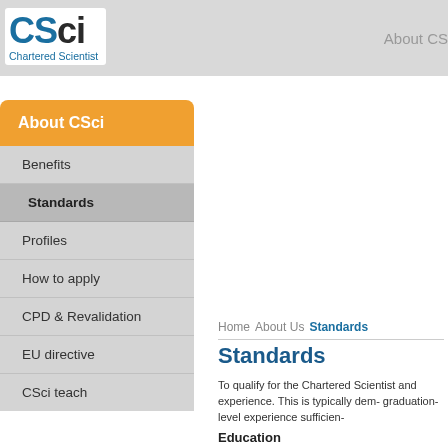CSci Chartered Scientist | About CS
[Figure (logo): CSci Chartered Scientist logo in blue and dark text on white background]
About CSci
Benefits
Standards
Profiles
How to apply
CPD & Revalidation
EU directive
CSci teach
Home   About Us   Standards
Standards
To qualify for the Chartered Scientist and experience. This is typically dem- graduation-level experience sufficien-
Education